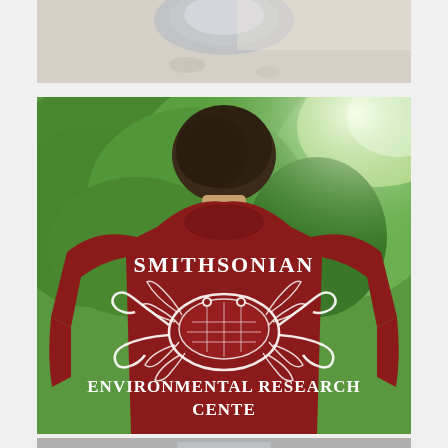[Figure (photo): Top portion of a photo showing a blurred circular object on a light gray concrete or tabletop surface, partially cut off at top of page.]
[Figure (photo): Person viewed from behind wearing a dark red/maroon Smithsonian Environmental Research Center t-shirt with a white crab graphic. Green trees visible in background sunlit outdoor setting. Text on shirt reads 'SMITHSONIAN' at top arch, crab illustration in center, 'ENVIRONMENTAL RESEARCH CENTER' at bottom.]
[Figure (photo): Bottom partial photo showing a light-colored surface with some objects, partially cut off at bottom of page.]